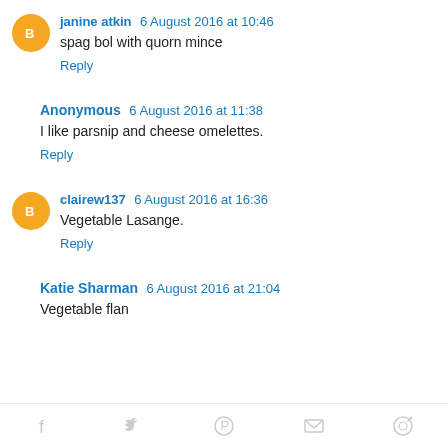janine atkin 6 August 2016 at 10:46
spag bol with quorn mince
Reply
Anonymous 6 August 2016 at 11:38
I like parsnip and cheese omelettes.
Reply
clairew137 6 August 2016 at 16:36
Vegetable Lasange.
Reply
Katie Sharman 6 August 2016 at 21:04
Vegetable flan
Share icons: Facebook, Twitter, Pinterest, Email, Other